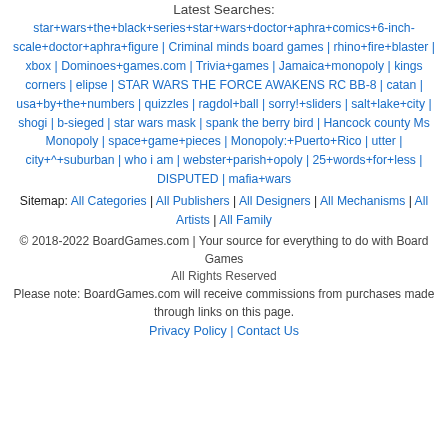Latest Searches:
star+wars+the+black+series+star+wars+doctor+aphra+comics+6-inch-scale+doctor+aphra+figure | Criminal minds board games | rhino+fire+blaster | xbox | Dominoes+games.com | Trivia+games | Jamaica+monopoly | kings corners | elipse | STAR WARS THE FORCE AWAKENS RC BB-8 | catan | usa+by+the+numbers | quizzles | ragdol+ball | sorry!+sliders | salt+lake+city | shogi | b-sieged | star wars mask | spank the berry bird | Hancock county Ms Monopoly | space+game+pieces | Monopoly:+Puerto+Rico | utter | city+^+suburban | who i am | webster+parish+opoly | 25+words+for+less | DISPUTED | mafia+wars
Sitemap: All Categories | All Publishers | All Designers | All Mechanisms | All Artists | All Family
© 2018-2022 BoardGames.com | Your source for everything to do with Board Games
All Rights Reserved
Please note: BoardGames.com will receive commissions from purchases made through links on this page.
Privacy Policy | Contact Us